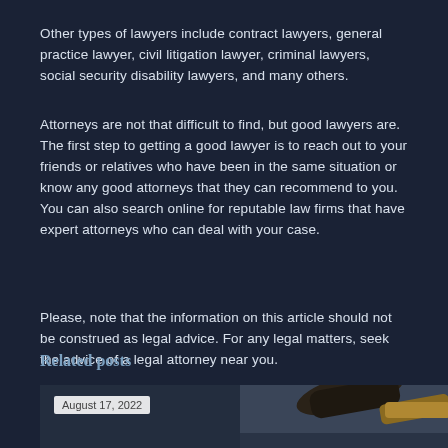Other types of lawyers include contract lawyers, general practice lawyer, civil litigation lawyer, criminal lawyers, social security disability lawyers, and many others.
Attorneys are not that difficult to find, but good lawyers are. The first step to getting a good lawyer is to reach out to your friends or relatives who have been in the same situation or know any good attorneys that they can recommend to you. You can also search online for reputable law firms that have expert attorneys who can deal with your case.
Please, note that the information on this article should not be construed as legal advice. For any legal matters, seek the advice of a legal attorney near you.
Related posts
[Figure (photo): A photograph of a judge's gavel, partially visible, showing the dark wooden head and gold/brass handle against a blurred dark background.]
August 17, 2022